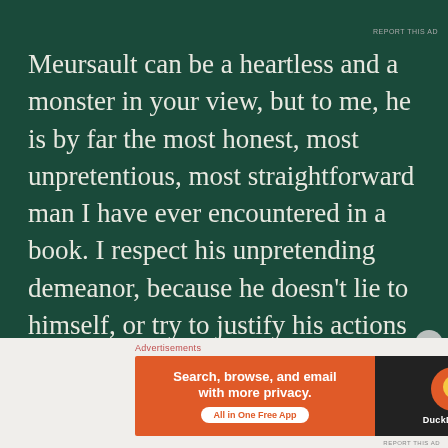REPORT THIS AD
Meursault can be a heartless and a monster in your view, but to me, he is by far the most honest, most unpretentious, most straightforward man I have ever encountered in a book. I respect his unpretending demeanor, because he doesn't lie to himself, or try to justify his actions to win others' sympathy. A psychopath/sociopath would do that easily,
[Figure (other): DuckDuckGo advertisement banner: 'Search, browse, and email with more privacy. All in One Free App' on orange background with DuckDuckGo logo on dark background]
REPORT THIS AD